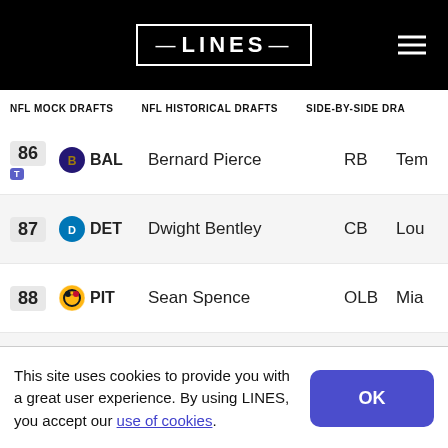LINES
| Pick | Team | Player | Pos | School |
| --- | --- | --- | --- | --- |
| 86 | BAL | Bernard Pierce | RB | Tem |
| 87 | DET | Dwight Bentley | CB | Lou |
| 88 | PIT | Sean Spence | OLB | Mia |
| 89 | CLE | John Hughes | DT | Cin |
| 90 | PHI | Nick Foles | QB | Ari |
This site uses cookies to provide you with a great user experience. By using LINES, you accept our use of cookies.